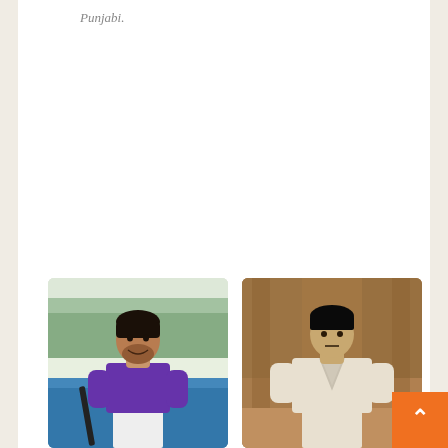Punjabi.
[Figure (photo): Young man in a purple hockey jersey holding a hockey stick on a blue turf field with trees in the background]
[Figure (photo): Young man in a white karate gi in an indoor setting with a wooden/rustic background]